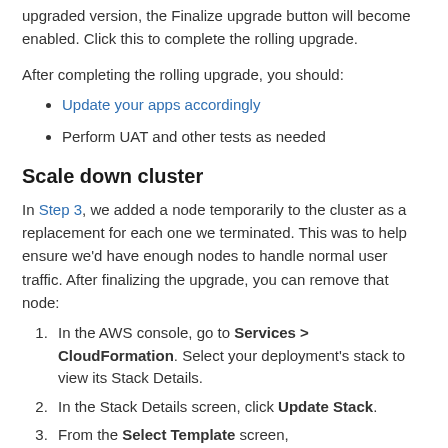upgraded version, the Finalize upgrade button will become enabled. Click this to complete the rolling upgrade.
After completing the rolling upgrade, you should:
Update your apps accordingly
Perform UAT and other tests as needed
Scale down cluster
In Step 3, we added a node temporarily to the cluster as a replacement for each one we terminated. This was to help ensure we'd have enough nodes to handle normal user traffic. After finalizing the upgrade, you can remove that node:
In the AWS console, go to Services > CloudFormation. Select your deployment's stack to view its Stack Details.
In the Stack Details screen, click Update Stack.
From the Select Template screen,